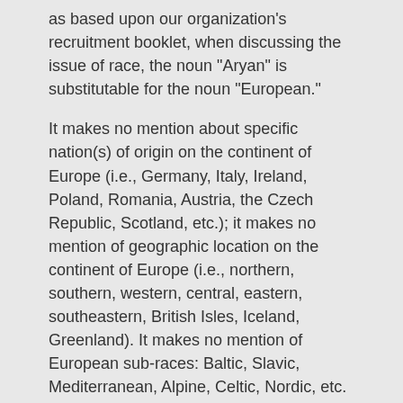as based upon our organization's recruitment booklet, when discussing the issue of race, the noun "Aryan" is substitutable for the noun "European."
It makes no mention about specific nation(s) of origin on the continent of Europe (i.e., Germany, Italy, Ireland, Poland, Romania, Austria, the Czech Republic, Scotland, etc.); it makes no mention of geographic location on the continent of Europe (i.e., northern, southern, western, central, eastern, southeastern, British Isles, Iceland, Greenland). It makes no mention of European sub-races: Baltic, Slavic, Mediterranean, Alpine, Celtic, Nordic, etc. It clearly, accurately, and with definiteness states that an "Aryan" is a person (male or female) whose ancestry, heritage, bloodline, and descendancy is 100% European.
If that definition of "Aryan" was good enough for Dr. William Pierce, I accept it without any equivocation.
Any White person who can see the threat to the future of the White race today and who refuses, whether from cowardice or selfishness, to stand up for his/her people does not deserve to be